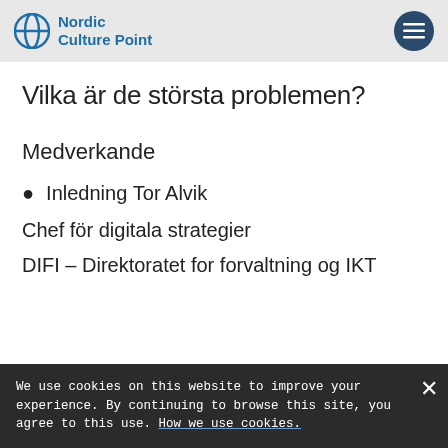Nordic Culture Point
Vilka är de största problemen?
Medverkande
Inledning Tor Alvik
Chef för digitala strategier
DIFI – Direktoratet for forvaltning og IKT
We use cookies on this website to improve your experience. By continuing to browse this site, you agree to this use. How we use cookies.